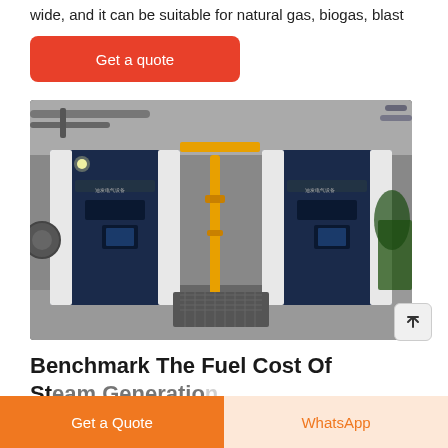wide, and it can be suitable for natural gas, biogas, blast
[Figure (other): Red 'Get a quote' button with rounded corners on white background]
[Figure (photo): Industrial boiler room showing two large dark blue and white boiler units side by side with yellow gas piping between them, in a factory/industrial setting]
Benchmark The Fuel Cost Of Steam Generation
[Figure (other): Bottom navigation bar with orange 'Get a Quote' button on left and light peach 'WhatsApp' button on right]